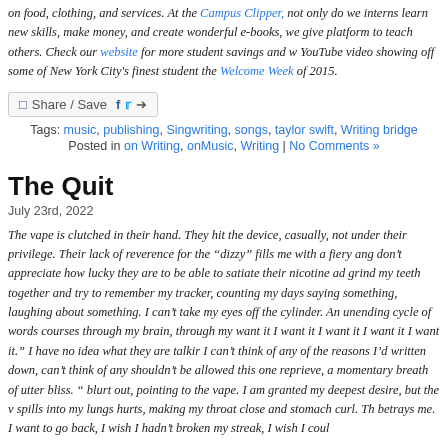on food, clothing, and services. At the Campus Clipper, not only do we interns learn new skills, make money, and create wonderful e-books, we give platform to teach others. Check our website for more student savings and w YouTube video showing off some of New York City's finest student the Welcome Week of 2015.
[Figure (other): Share/Save social media button bar with Facebook, Twitter, and share icons]
Tags: music, publishing, Singwriting, songs, taylor swift, Writing bridge
Posted in on Writing, onMusic, Writing | No Comments »
The Quit
July 23rd, 2022
The vape is clutched in their hand. They hit the device, casually, not under their privilege. Their lack of reverence for the "dizzy" fills me with a fiery ang don't appreciate how lucky they are to be able to satiate their nicotine ad grind my teeth together and try to remember my tracker, counting my days saying something, laughing about something. I can't take my eyes off the cylinder. An unending cycle of words courses through my brain, through my want it I want it I want it I want it I want it." I have no idea what they are talkir I can't think of any of the reasons I'd written down, can't think of any shouldn't be allowed this one reprieve, a momentary breath of utter bliss. blurt out, pointing to the vape. I am granted my deepest desire, but the v spills into my lungs hurts, making my throat close and stomach curl. Th betrays me. I want to go back, I wish I hadn't broken my streak, I wish I coul